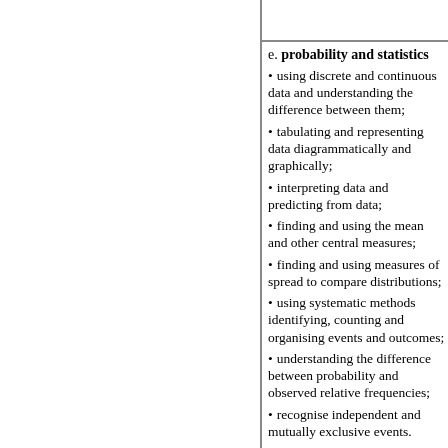e. probability and statistics
using discrete and continuous data and understanding the difference between them;
tabulating and representing data diagrammatically and graphically;
interpreting data and predicting from data;
finding and using the mean and other central measures;
finding and using measures of spread to compare distributions;
using systematic methods identifying, counting and organising events and outcomes;
understanding the difference between probability and observed relative frequencies;
recognise independent and mutually exclusive events.